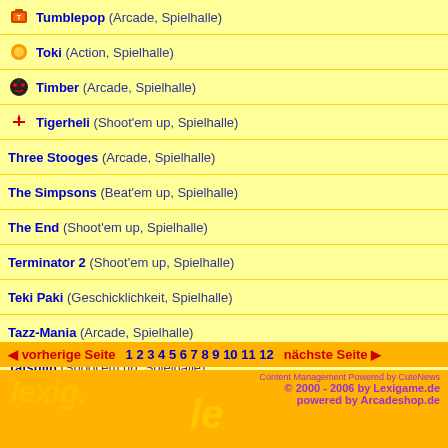Tumblepop (Arcade, Spielhalle)
Toki (Action, Spielhalle)
Timber (Arcade, Spielhalle)
Tigerheli (Shoot'em up, Spielhalle)
Three Stooges (Arcade, Spielhalle)
The Simpsons (Beat'em up, Spielhalle)
The End (Shoot'em up, Spielhalle)
Terminator 2 (Shoot'em up, Spielhalle)
Teki Paki (Geschicklichkeit, Spielhalle)
Tazz-Mania (Arcade, Spielhalle)
Tatsujin (Shoot'em up, Spielhalle)
The Newzealand Story 1 & 2 (Jump'n'run, Spielhalle)
Turtles & Turtles II (Beat'em up, Spielhalle)
vorherige Seite 1 2 3 4 5 6 7 8 9 10 11 12 nächste Seite | © 2000 - 2006 by Lexigame.de | powered by Arcadeshop.de | Content Management Powered by CuteNews